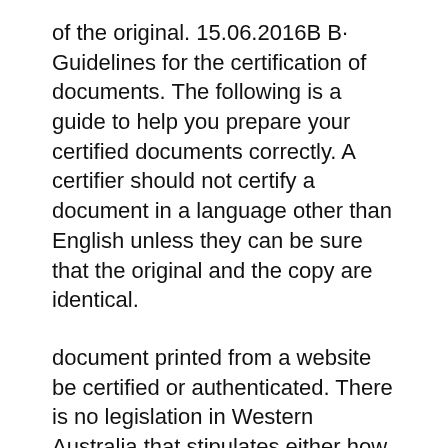of the original. 15.06.2016B B· Guidelines for the certification of documents. The following is a guide to help you prepare your certified documents correctly. A certifier should not certify a document in a language other than English unless they can be sure that the original and the copy are identical.
document printed from a website be certified or authenticated. There is no legislation in Western Australia that stipulates either how to certify a copy of a document or who can do it. The general rule in respect to certifying a document as a true copy is that the person authenticating the document